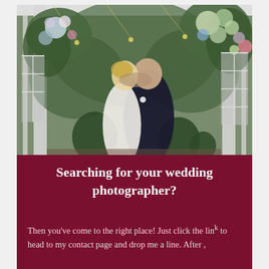[Figure (photo): Wedding couple kissing under a floral arch with white columns, surrounded by greenery, white and pink/purple flowers. Bride in white dress, groom in dark suit.]
Searching for your wedding photographer?
Then you've come to the right place! Just click the link to head to my contact page and drop me a line. After ,